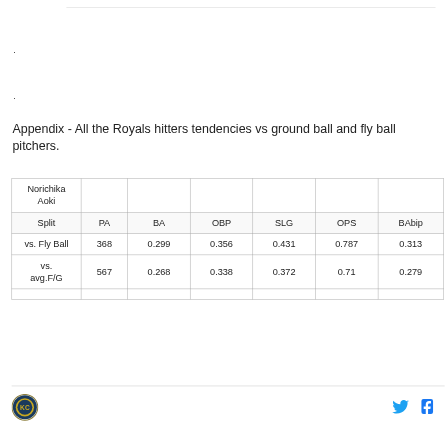.
.
Appendix - All the Royals hitters tendencies vs ground ball and fly ball pitchers.
| Norichika Aoki |  |  |  |  |  | BAbip |
| --- | --- | --- | --- | --- | --- | --- |
| Split | PA | BA | OBP | SLG | OPS | BAbip |
| vs. Fly Ball | 368 | 0.299 | 0.356 | 0.431 | 0.787 | 0.313 |
| vs. avg.F/G | 567 | 0.268 | 0.338 | 0.372 | 0.71 | 0.279 |
[Figure (logo): Site logo circular badge]
[Figure (logo): Twitter bird icon]
[Figure (logo): Facebook f icon]